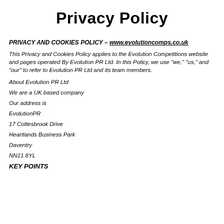Privacy Policy
PRIVACY AND COOKIES POLICY – www.evolutioncomps.co.uk
This Privacy and Cookies Policy applies to the Evolution Competitions website and pages operated By Evolution PR Ltd. In this Policy, we use "we," "us," and "our" to refer to Evolution PR Ltd and its team members.
About Evolution PR Ltd
We are a UK based company
Our address is
EvolutionPR
17 Cottesbrook Drive
Heartlands Business Park
Daventry
NN11 8YL
KEY POINTS